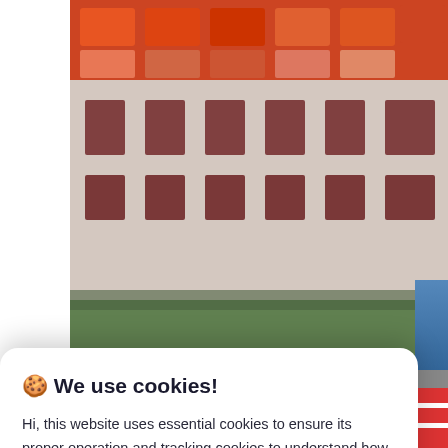[Figure (photo): A photograph of a multi-storey building with orange/red signage on the roof, white walls, multiple windows with dark frames, partially obscured by the cookie consent dialog overlay.]
🍪 We use cookies!
Hi, this website uses essential cookies to ensure its proper operation and tracking cookies to understand how you interact with it. The latter will be set only after consent. Let me choose
Accept all
Reject all